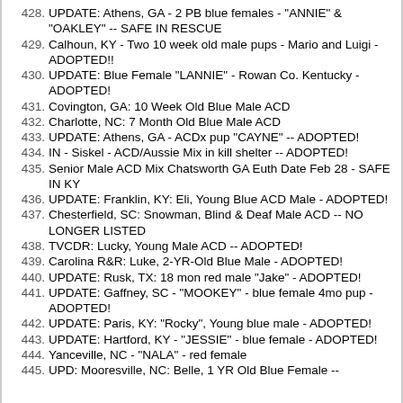428. UPDATE: Athens, GA - 2 PB blue females - "ANNIE" & "OAKLEY" -- SAFE IN RESCUE
429. Calhoun, KY - Two 10 week old male pups - Mario and Luigi -ADOPTED!!
430. UPDATE: Blue Female "LANNIE" - Rowan Co. Kentucky - ADOPTED!
431. Covington, GA: 10 Week Old Blue Male ACD
432. Charlotte, NC: 7 Month Old Blue Male ACD
433. UPDATE: Athens, GA - ACDx pup "CAYNE" -- ADOPTED!
434. IN - Siskel - ACD/Aussie Mix in kill shelter -- ADOPTED!
435. Senior Male ACD Mix Chatsworth GA Euth Date Feb 28 - SAFE IN KY
436. UPDATE: Franklin, KY: Eli, Young Blue ACD Male - ADOPTED!
437. Chesterfield, SC: Snowman, Blind & Deaf Male ACD -- NO LONGER LISTED
438. TVCDR: Lucky, Young Male ACD -- ADOPTED!
439. Carolina R&R: Luke, 2-YR-Old Blue Male - ADOPTED!
440. UPDATE: Rusk, TX: 18 mon red male "Jake" - ADOPTED!
441. UPDATE: Gaffney, SC - "MOOKEY" - blue female 4mo pup - ADOPTED!
442. UPDATE: Paris, KY: "Rocky", Young blue male - ADOPTED!
443. UPDATE: Hartford, KY - "JESSIE" - blue female - ADOPTED!
444. Yanceville, NC - "NALA" - red female
445. UPD: Mooresville, NC: Belle, 1 YR Old Blue Female --